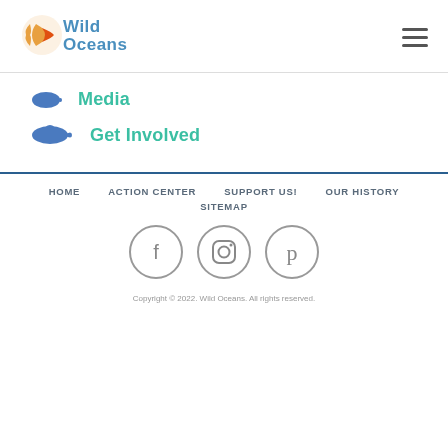[Figure (logo): Wild Oceans logo with orange fish icon and teal/blue text]
Media
Get Involved
HOME  ACTION CENTER  SUPPORT US!  OUR HISTORY  SITEMAP
[Figure (other): Social media icons: Facebook, Instagram, Pinterest in circular outlines]
Copyright © 2022. Wild Oceans. All rights reserved.